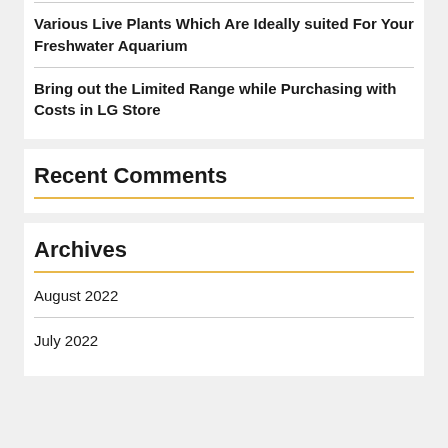Various Live Plants Which Are Ideally suited For Your Freshwater Aquarium
Bring out the Limited Range while Purchasing with Costs in LG Store
Recent Comments
Archives
August 2022
July 2022